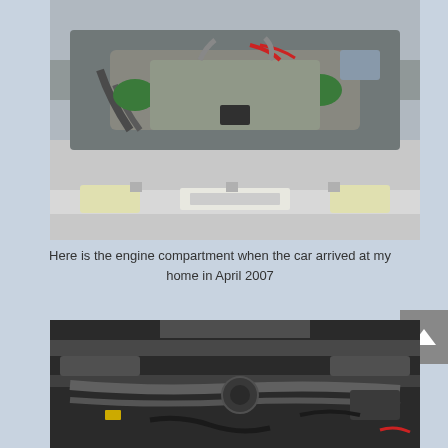[Figure (photo): Engine compartment of a car viewed from above with hood open, showing engine bay with hoses, wiring, and components. Car has a silver/white body with front bumper and headlights visible.]
Here is the engine compartment when the car arrived at my home in April 2007
[Figure (photo): Undercarriage or lower engine bay view of a car, showing dark mechanical components, hoses, and wiring.]